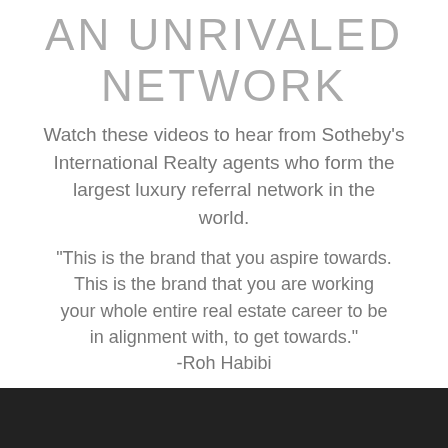AN UNRIVALED NETWORK
Watch these videos to hear from Sotheby's International Realty agents who form the largest luxury referral network in the world.
“This is the brand that you aspire towards. This is the brand that you are working your whole entire real estate career to be in alignment with, to get towards.” -Roh Habibi
[Figure (other): Dark/black bar at the bottom of the page, partial video player or decorative element]